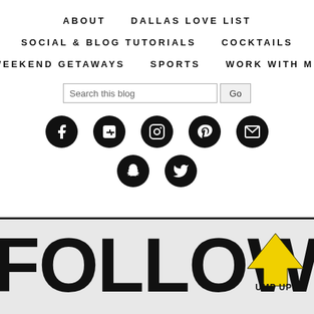ABOUT | DALLAS LOVE LIST | SOCIAL & BLOG TUTORIALS | COCKTAILS | WEEKEND GETAWAYS | SPORTS | WORK WITH ME
[Figure (screenshot): Blog navigation menu with social media icons (Facebook, Google+, Instagram, Pinterest, Email, Snapchat, Twitter) and a search bar]
[Figure (other): Large bold text reading FOLLOW ME with a yellow upward-pointing arrow widget overlaid, partially cropped]